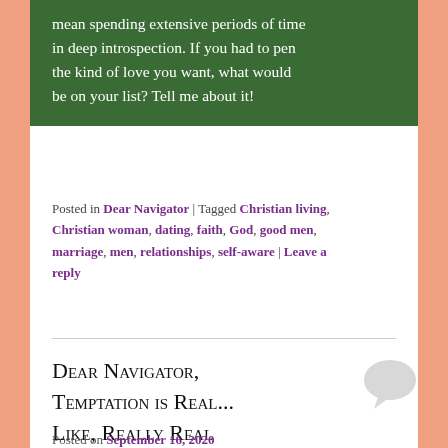mean spending extensive periods of time in deep introspection. If you had to pen the kind of love you want, what would be on your list? Tell me about it!
Posted in Dear Navigator | Tagged Christian living, Christian woman, dating, faith, God, good men, marriage, men, relationships, self-aware | Leave a reply
Dear Navigator, Temptation is Real... Like, Really Real
Posted on September 16, 2020
I recently heard a sermon about David's fall at the hands of a woman.